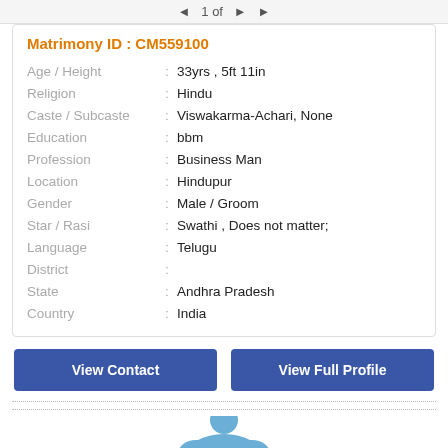◄  1 of  ►  ►
Matrimony ID : CM559100
| Field |  | Value |
| --- | --- | --- |
| Age / Height | : | 33yrs , 5ft 11in |
| Religion | : | Hindu |
| Caste / Subcaste | : | Viswakarma-Achari, None |
| Education | : | bbm |
| Profession | : | Business Man |
| Location | : | Hindupur |
| Gender | : | Male / Groom |
| Star / Rasi | : | Swathi , Does not matter; |
| Language | : | Telugu |
| District | : |  |
| State | : | Andhra Pradesh |
| Country | : | India |
View Contact
View Full Profile
[Figure (illustration): Blue cloud/person placeholder profile image at the bottom of the card]